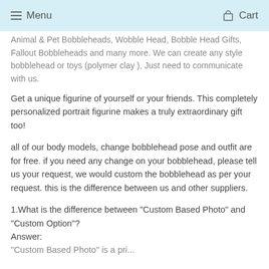Menu  Cart
Animal & Pet Bobbleheads, Wobble Head, Bobble Head Gifts, Fallout Bobbleheads and many more. We can create any style bobblehead or toys (polymer clay ), Just need to communicate with us.
Get a unique figurine of yourself or your friends. This completely personalized portrait figurine makes a truly extraordinary gift too!
all of our body models, change bobblehead pose and outfit are for free. if you need any change on your bobblehead, please tell us your request, we would custom the bobblehead as per your request. this is the difference between us and other suppliers.
1.What is the difference between "Custom Based Photo" and "Custom Option"?
Answer:
"Custom Based Photo" is...